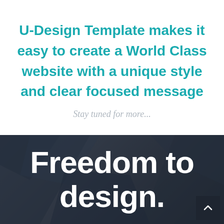U-Design Template makes it easy to create a World Class website with a unique style and clear focused message
Stay tuned for more...
Freedom to design.